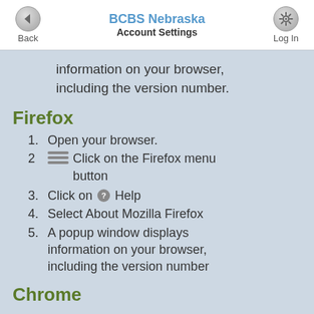BCBS Nebraska — Account Settings
information on your browser, including the version number.
Firefox
1. Open your browser.
2. Click on the Firefox menu button
3. Click on ? Help
4. Select About Mozilla Firefox
5. A popup window displays information on your browser, including the version number
Chrome